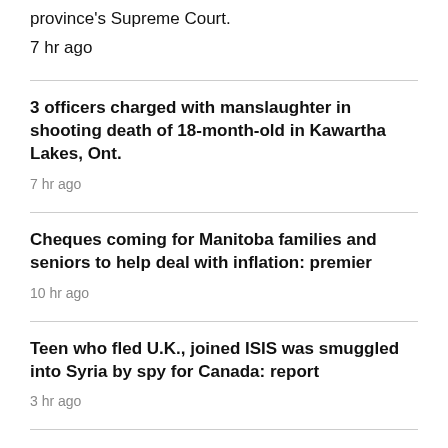province's Supreme Court.
7 hr ago
3 officers charged with manslaughter in shooting death of 18-month-old in Kawartha Lakes, Ont.
7 hr ago
Cheques coming for Manitoba families and seniors to help deal with inflation: premier
10 hr ago
Teen who fled U.K., joined ISIS was smuggled into Syria by spy for Canada: report
3 hr ago